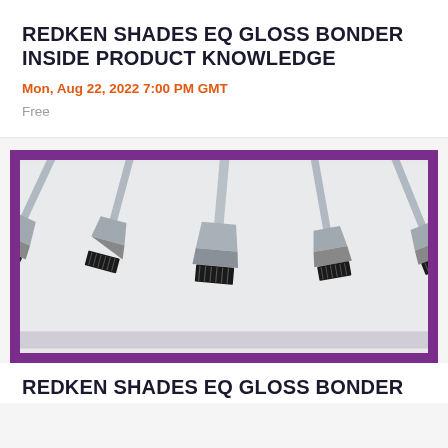REDKEN SHADES EQ GLOSS BONDER INSIDE PRODUCT KNOWLEDGE
Mon, Aug 22, 2022 7:00 PM GMT
Free
[Figure (photo): Multiple silver Redken hair dye application brushes with black bristles arranged diagonally on a white background, displayed within a purple bordered frame with a dark city skyline silhouette visible in the border area.]
REDKEN SHADES EQ GLOSS BONDER